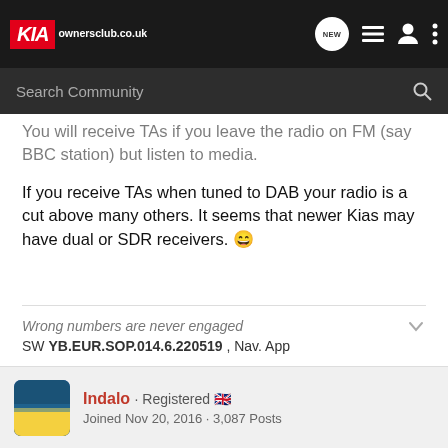KIA owners club.co.uk
You will receive TAs if you leave the radio on FM (say BBC station) but listen to media.

If you receive TAs when tuned to DAB your radio is a cut above many others. It seems that newer Kias may have dual or SDR receivers.
Wrong numbers are never engaged
SW YB.EUR.SOP.014.6.220519 , Nav. App
Indalo · Registered
Joined Nov 20, 2016 · 3,087 Posts